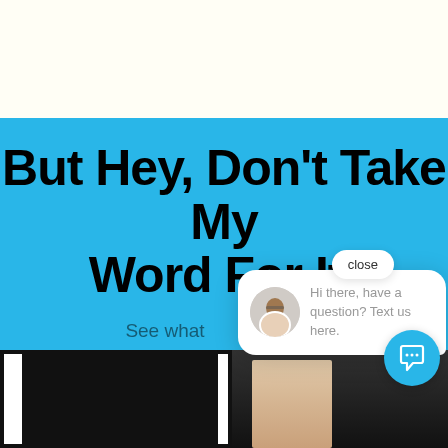But Hey, Don't Take My Word For It!
See what ... saying...
[Figure (screenshot): Chat widget popup with avatar of a woman wearing glasses, text reads: Hi there, have a question? Text us here. A close button is visible top right.]
[Figure (photo): Bottom of page showing two partially visible video thumbnail cards side by side, mostly black frames with a person visible in the center card.]